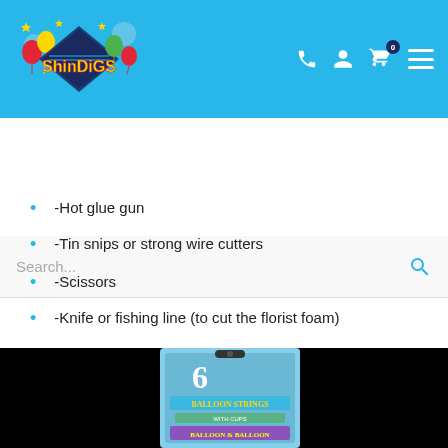[Figure (logo): Shindigs party store logo with colorful balloons and stars on blue background header, with navigation icons (phone, user, cart with 0 badge, hamburger menu)]
[Figure (screenshot): Search bar with placeholder text 'Search...' and blue magnifying glass icon]
-Hot glue gun
-Tin snips or strong wire cutters
-Scissors
-Knife or fishing line (to cut the florist foam)
-Sticky tape
[Figure (photo): Product image of balloon strings pack with 6 balloon strings with cups, partially visible at bottom of page on black background]